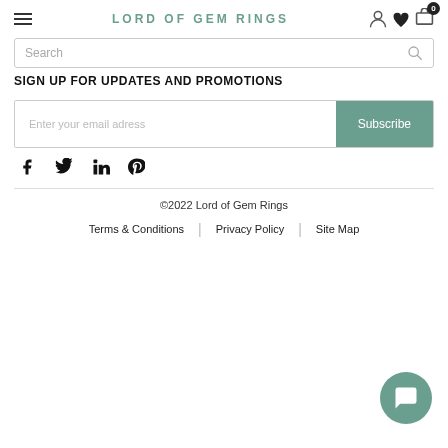LORD OF GEM RINGS
Search
SIGN UP FOR UPDATES AND PROMOTIONS
Enter your email adress | Subscribe
[Figure (other): Social media icons: Facebook, Twitter, LinkedIn, Pinterest]
©2022 Lord of Gem Rings
Terms & Conditions | Privacy Policy | Site Map